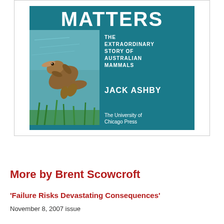[Figure (illustration): Book cover for 'Platypus Matters: The Extraordinary Story of Australian Mammals' by Jack Ashby, published by The University of Chicago Press. Teal/dark cyan background with a photo of a platypus swimming underwater on the left half, and white text on the right.]
More by Brent Scowcroft
‘Failure Risks Devastating Consequences’
November 8, 2007 issue